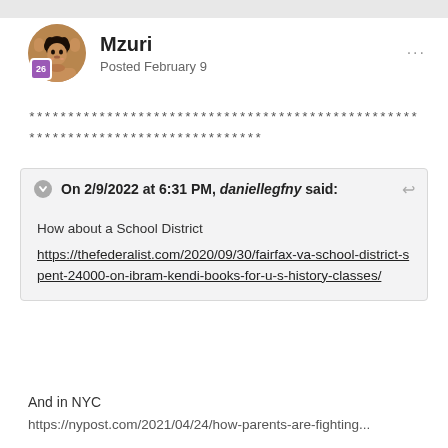Mzuri
Posted February 9
************************************************** ******************************
On 2/9/2022 at 6:31 PM, daniellegfny said:

How about a School District
https://thefederalist.com/2020/09/30/fairfax-va-school-district-spent-24000-on-ibram-kendi-books-for-u-s-history-classes/
And in NYC
https://nypost.com/2021/04/24/how-parents-are-fighting...